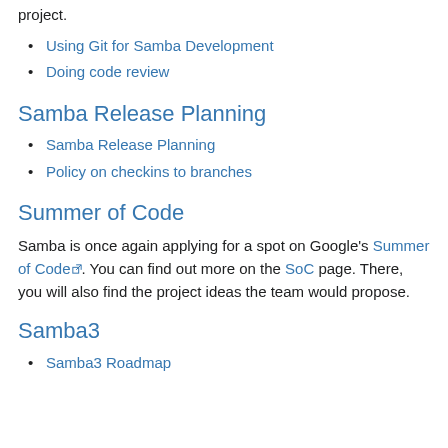project.
Using Git for Samba Development
Doing code review
Samba Release Planning
Samba Release Planning
Policy on checkins to branches
Summer of Code
Samba is once again applying for a spot on Google's Summer of Code. You can find out more on the SoC page. There, you will also find the project ideas the team would propose.
Samba3
Samba3 Roadmap